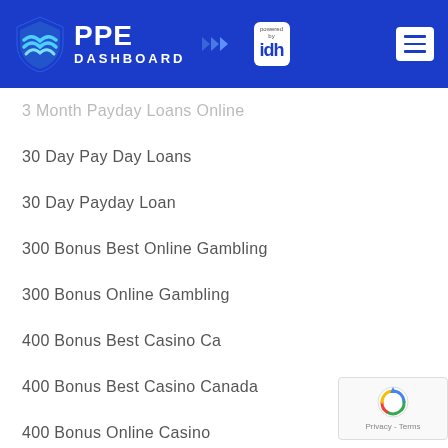[Figure (logo): PPE Dashboard logo with shield icon and 'powered by idh' badge on blue header background, with hamburger menu button on right]
3 Month Payday Loans Online
30 Day Pay Day Loans
30 Day Payday Loan
300 Bonus Best Online Gambling
300 Bonus Online Gambling
400 Bonus Best Casino Ca
400 Bonus Best Casino Canada
400 Bonus Online Casino
420 Dating Mobile Site